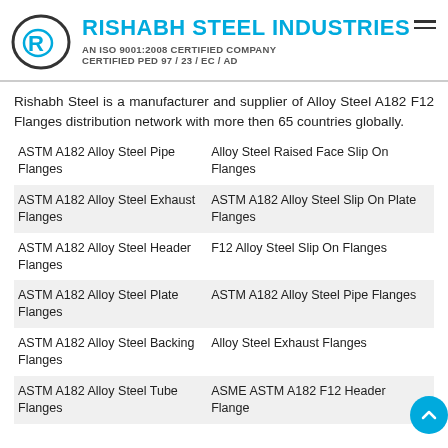RISHABH STEEL INDUSTRIES — AN ISO 9001:2008 CERTIFIED COMPANY — CERTIFIED PED 97 / 23 / EC / AD
Rishabh Steel is a manufacturer and supplier of Alloy Steel A182 F12 Flanges distribution network with more then 65 countries globally.
| Column1 | Column2 |
| --- | --- |
| ASTM A182 Alloy Steel Pipe Flanges | Alloy Steel Raised Face Slip On Flanges |
| ASTM A182 Alloy Steel Exhaust Flanges | ASTM A182 Alloy Steel Slip On Plate Flanges |
| ASTM A182 Alloy Steel Header Flanges | F12 Alloy Steel Slip On Flanges |
| ASTM A182 Alloy Steel Plate Flanges | ASTM A182 Alloy Steel Pipe Flanges |
| ASTM A182 Alloy Steel Backing Flanges | Alloy Steel Exhaust Flanges |
| ASTM A182 Alloy Steel Tube Flanges | ASME ASTM A182 F12 Header Flanges |